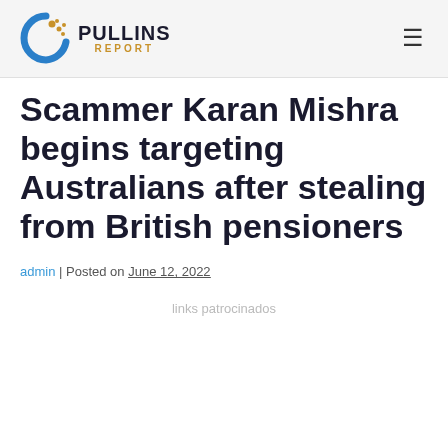Pullins Report
Scammer Karan Mishra begins targeting Australians after stealing from British pensioners
admin | Posted on June 12, 2022
links patrocinados